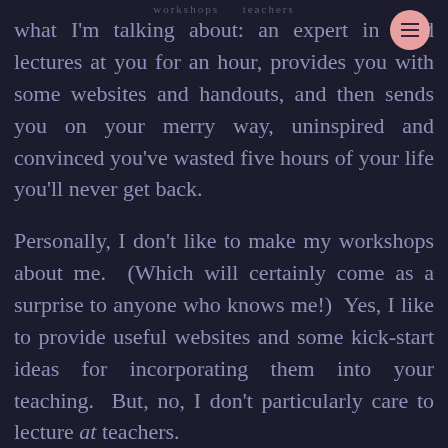workshops / teachers
what I'm talking about: an expert in field lectures at you for an hour, provides you with some websites and handouts, and then sends you on your merry way, uninspired and convinced you've wasted five hours of your life you'll never get back.
Personally, I don't like to make my workshops about me. (Which will certainly come as a surprise to anyone who knows me!) Yes, I like to provide useful websites and some kick-start ideas for incorporating them into your teaching. But, no, I don't particularly care to lecture at teachers.